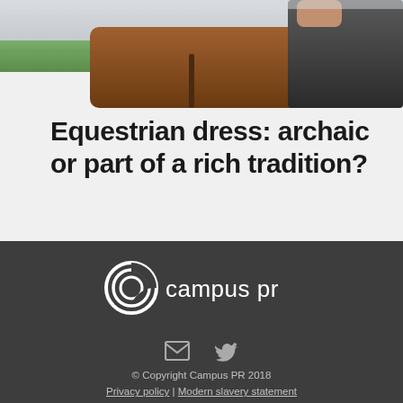[Figure (photo): Photograph of a person with a horse outdoors, partially cropped at top of page]
Equestrian dress: archaic or part of a rich tradition?
[Figure (logo): Campus PR logo — circular swirl C icon followed by 'campus pr' text in white on dark background]
© Copyright Campus PR 2018
Privacy policy | Modern slavery statement